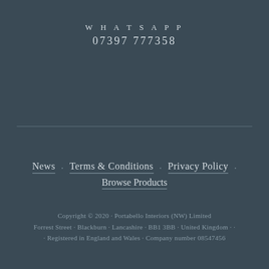WHATSAPP
07397 777358
News · Terms & Conditions · Privacy Policy · Browse Products
Copyright © 2020 · Portabello Interiors (NW) Limited
Forrest Street · Blackburn · Lancashire · BB1 3BB · United Kingdom · ·
· Registered in England and Wales · Company number 08547456